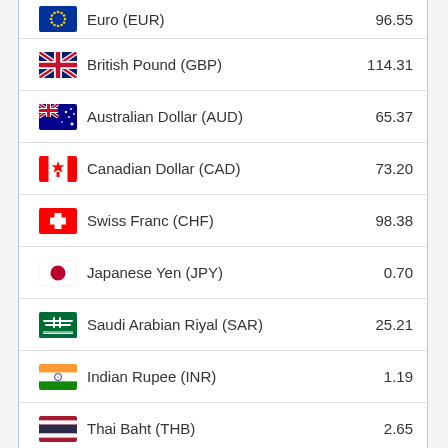| Currency | Rate |
| --- | --- |
| Euro (EUR) | 96.55 |
| British Pound (GBP) | 114.31 |
| Australian Dollar (AUD) | 65.37 |
| Canadian Dollar (CAD) | 73.20 |
| Swiss Franc (CHF) | 98.38 |
| Japanese Yen (JPY) | 0.70 |
| Saudi Arabian Riyal (SAR) | 25.21 |
| Indian Rupee (INR) | 1.19 |
| Thai Baht (THB) | 2.65 |